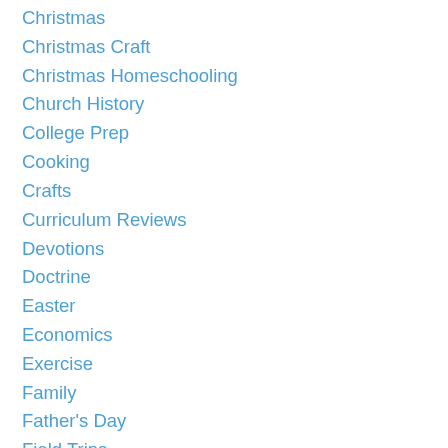Christmas
Christmas Craft
Christmas Homeschooling
Church History
College Prep
Cooking
Crafts
Curriculum Reviews
Devotions
Doctrine
Easter
Economics
Exercise
Family
Father's Day
Field Trips
Finances
Finish Well
Food
Friendship